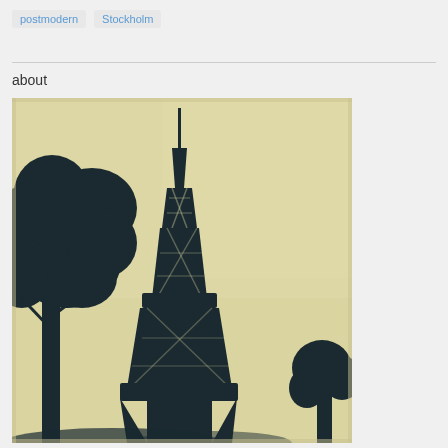postmodern
Stockholm
about
[Figure (photo): Vintage sepia/yellow-toned photograph of the Eiffel Tower in Paris, viewed from below with silhouetted tree branches in the foreground and a pale yellow sky in the background.]